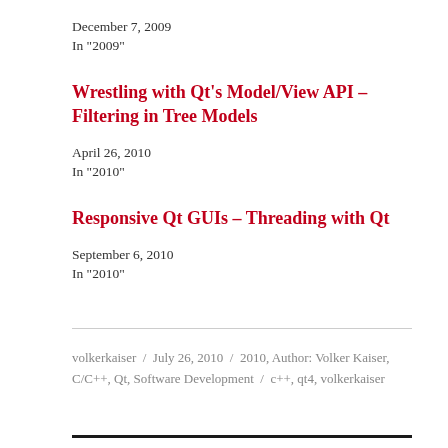December 7, 2009
In "2009"
Wrestling with Qt's Model/View API – Filtering in Tree Models
April 26, 2010
In "2010"
Responsive Qt GUIs – Threading with Qt
September 6, 2010
In "2010"
volkerkaiser  /  July 26, 2010  /  2010, Author: Volker Kaiser, C/C++, Qt, Software Development  /  c++, qt4, volkerkaiser